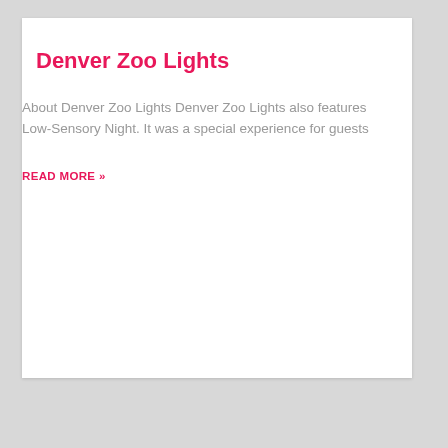Denver Zoo Lights
About Denver Zoo Lights Denver Zoo Lights also features Low-Sensory Night. It was a special experience for guests
READ MORE »